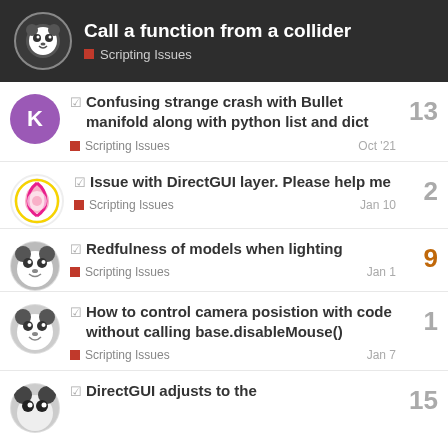Call a function from a collider — Scripting Issues
Confusing strange crash with Bullet manifold along with python list and dict — Scripting Issues — Oct '21 — 13 replies
Issue with DirectGUI layer. Please help me — Scripting Issues — Jan 10 — 2 replies
Redfulness of models when lighting — Scripting Issues — Jan 1 — 9 replies
How to control camera posistion with code without calling base.disableMouse() — Scripting Issues — Jan 7 — 1 reply
DirectGUI adjusts to the — 15 replies